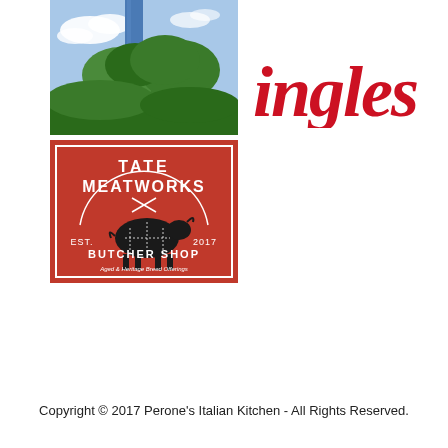[Figure (photo): Outdoor photo showing a blue pole and palm trees against a partly cloudy sky]
[Figure (logo): Tate Meatworks Butcher Shop logo - red background with black bull silhouette, text reads TATE MEATWORKS, EST. 2017, BUTCHER SHOP, Aged & Heritage Breed Offerings]
[Figure (logo): Ingles logo in bold red lowercase italic serif letters]
Copyright © 2017 Perone's Italian Kitchen - All Rights Reserved.